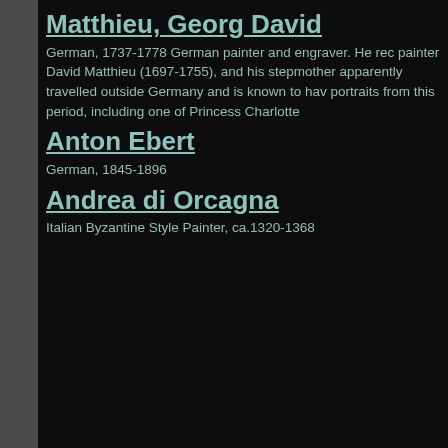Matthieu, Georg David
German, 1737-1778 German painter and engraver. He rec painter David Matthieu (1697-1755), and his stepmother apparently travelled outside Germany and is known to hav portraits from this period, including one of Princess Charlott
Anton Ebert
German, 1845-1896
Andrea di Orcagna
Italian Byzantine Style Painter, ca.1320-1368
[Figure (other): White content area panel with dark frame and dark borders, lower half of page]